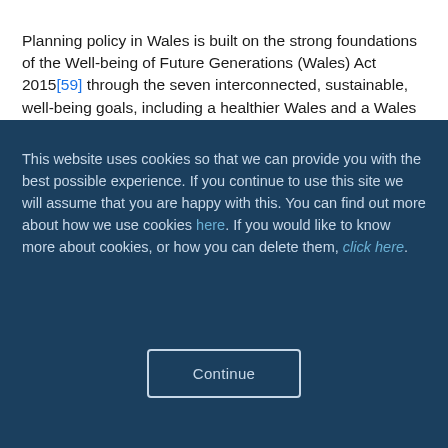Planning policy in Wales is built on the strong foundations of the Well-being of Future Generations (Wales) Act 2015[59] through the seven interconnected, sustainable, well-being goals, including a healthier Wales and a Wales of cohesive communities. The Act requires public bodies
This website uses cookies so that we can provide you with the best possible experience. If you continue to use this site we will assume that you are happy with this. You can find out more about how we use cookies here. If you would like to know more about cookies, or how you can delete them, click here.